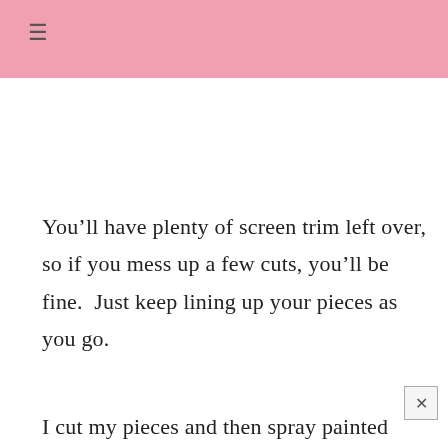≡
You'll have plenty of screen trim left over, so if you mess up a few cuts, you'll be fine.  Just keep lining up your pieces as you go.
I cut my pieces and then spray painted them gold.  The Rust-oleum covers beautifully in